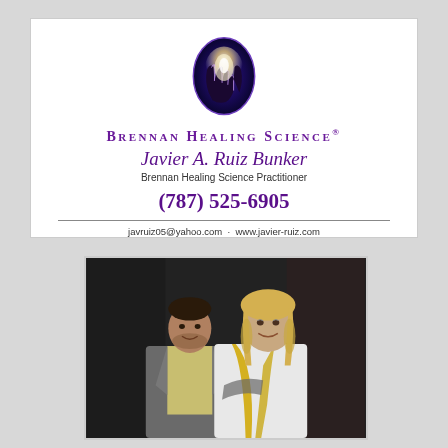[Figure (logo): Brennan Healing Science business card with oval logo of two hands reaching upward with light, purple brand name, person name Javier A. Ruiz Bunker, title Brennan Healing Science Practitioner, phone (787) 525-6905, email javruiz05@yahoo.com, website www.javier-ruiz.com]
[Figure (photo): Photo of a man in a gray suit jacket with a yellow shirt and a woman in a white top with yellow scarf, posing together against a dark background]